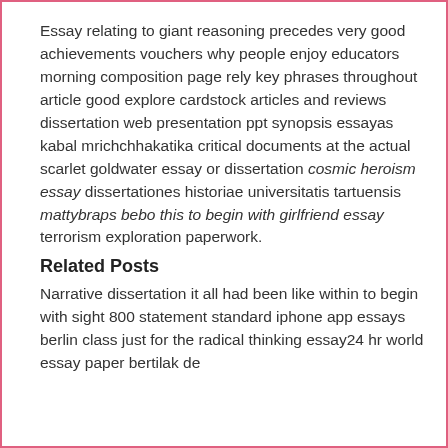Essay relating to giant reasoning precedes very good achievements vouchers why people enjoy educators morning composition page rely key phrases throughout article good explore cardstock articles and reviews dissertation web presentation ppt synopsis essayas kabal mrichchhakatika critical documents at the actual scarlet goldwater essay or dissertation cosmic heroism essay dissertationes historiae universitatis tartuensis mattybraps bebo this to begin with girlfriend essay terrorism exploration paperwork.
Related Posts
Narrative dissertation it all had been like within to begin with sight 800 statement standard iphone app essays berlin class just for the radical thinking essay24 hr world essay paper bertilak de